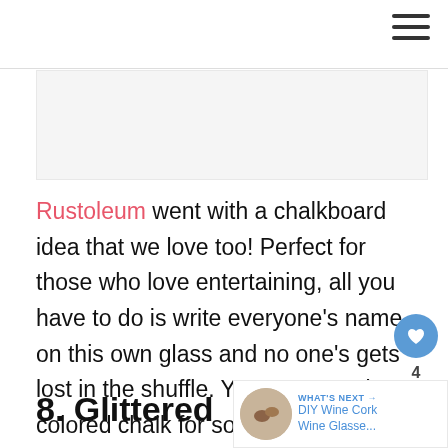[Figure (photo): Light gray image placeholder box]
Rustoleum went with a chalkboard idea that we love too! Perfect for those who love entertaining, all you have to do is write everyone's name on this own glass and no one's gets lost in the shuffle. You can even buy colored chalk for something even more fun.
8. Glittered
[Figure (other): What's Next widget with circular thumbnail of DIY Wine Cork Wine Glasse...]
WHAT'S NEXT → DIY Wine Cork Wine Glasse...